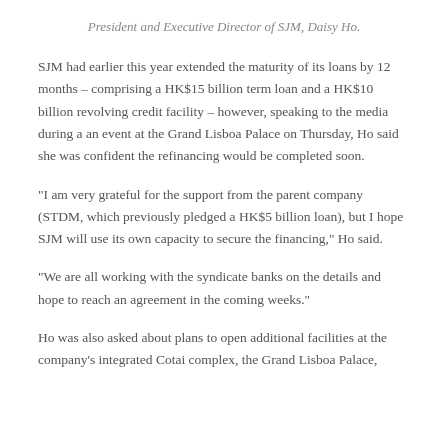President and Executive Director of SJM, Daisy Ho.
SJM had earlier this year extended the maturity of its loans by 12 months – comprising a HK$15 billion term loan and a HK$10 billion revolving credit facility – however, speaking to the media during a an event at the Grand Lisboa Palace on Thursday, Ho said she was confident the refinancing would be completed soon.
“I am very grateful for the support from the parent company (STDM, which previously pledged a HK$5 billion loan), but I hope SJM will use its own capacity to secure the financing,” Ho said.
“We are all working with the syndicate banks on the details and hope to reach an agreement in the coming weeks.”
Ho was also asked about plans to open additional facilities at the company’s integrated Cotai complex, the Grand Lisboa Palace,